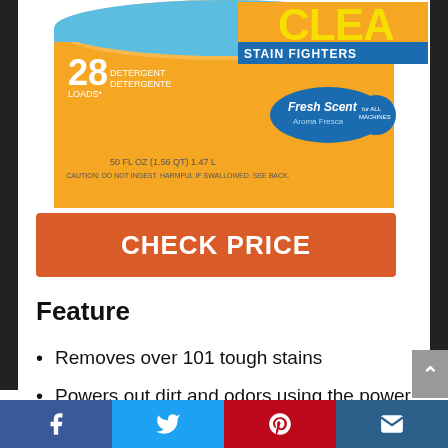[Figure (photo): Arm & Hammer Clean Stain Fighters laundry detergent bottle, orange container, 28 loads, Fresh Scent, 50 FL OZ (1.56 QT) 1.47 L]
CHECK PRICE
Feature
Removes over 101 tough stains
Powers out dirt and odors using the power of ARM & HAMMER Baking Soda and supercharged with